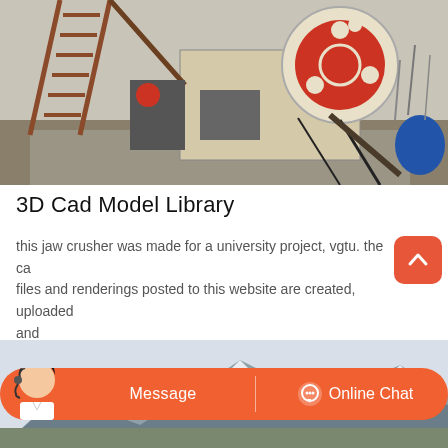[Figure (photo): Photograph of an industrial jaw crusher machine outdoors, with a red metal staircase/ladder on the left, a large white and red flywheel on the right, and rusted metal frame structure. Background shows bare trees and overcast sky.]
3D Cad Model Library
this jaw crusher was made for a university project, vgtu. the cad files and renderings posted to this website are created, uploaded and
[Figure (photo): Photograph of industrial machinery or quarry equipment outdoors with mountains and cloudy sky in the background. Orange chat/message bar overlay at the bottom with a customer service representative image, Message button, and Online Chat button.]